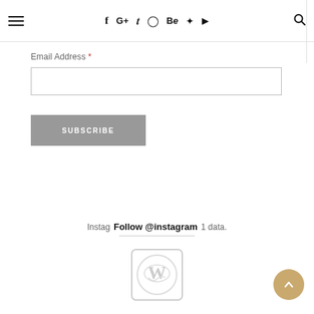≡  f  G+  🐦  📷  Be  𝗽  ▶  🔍
Email Address *
SUBSCRIBE
Instag  Follow @instagram  1 data.
[Figure (logo): Circular logo/badge with decorative emblem, light gray on white background]